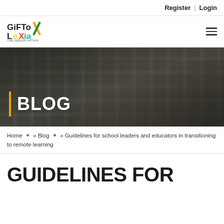Register | Login
[Figure (logo): Giftolexia logo with colorful text]
[Figure (photo): Hero banner showing hands typing on a laptop keyboard with dark overlay and BLOG text]
Home » Blog » Guidelines for school leaders and educators in transitioning to remote learning
GUIDELINES FOR